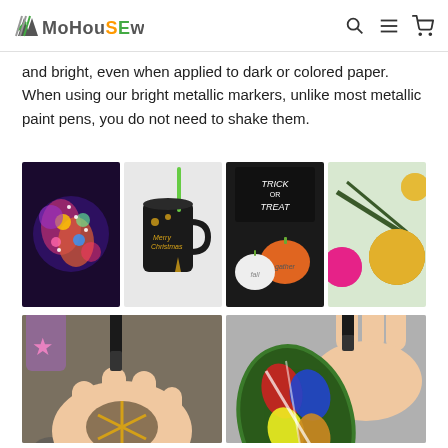MoHousEware
and bright, even when applied to dark or colored paper. When using our bright metallic markers, unlike most metallic paint pens, you do not need to shake them.
[Figure (photo): Four photos showing metallic marker craft projects: painted stones with colorful paisley patterns, a black mug with Merry Christmas gold writing, Halloween pumpkins with trick or treat text, and gold/pink Christmas ornaments with pine branches.]
[Figure (photo): Two photos showing hands using metallic paint pens: left image shows drawing gold star pattern on a small rock, right image shows coloring a decorative leaf ornament with multicolor metallic markers.]